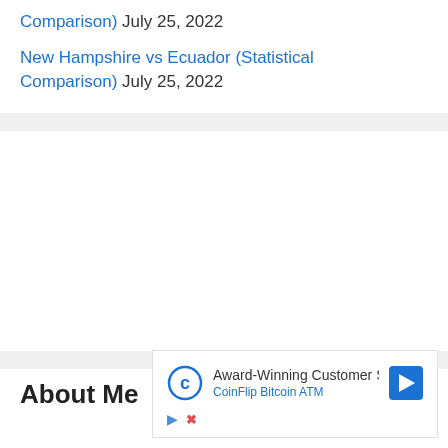Comparison) July 25, 2022
New Hampshire vs Ecuador (Statistical Comparison) July 25, 2022
About Me
[Figure (other): Advertisement: Award-Winning Customer Service - CoinFlip Bitcoin ATM, with logo and direction arrow icon, and ad controls (play/close buttons)]